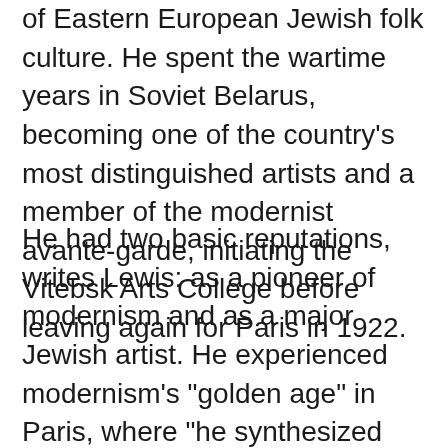of Eastern European Jewish folk culture. He spent the wartime years in Soviet Belarus, becoming one of the country's most distinguished artists and a member of the modernist avante-garde, initiating the Vitebsk Arts College before leaving again for Paris in 1922.
He had two basic reputations, writes Lewis: as a pioneer of modernism and as a major Jewish artist. He experienced modernism's "golden age" in Paris, where "he synthesized the art forms of Cubism, Symbolism, and Fauvism, and the influence of Fauvism gave rise to Surrealism." Yet throughout these phases of his style "he remained most emphatically a Jewish artist, whose work